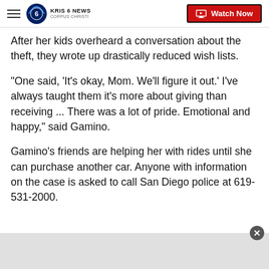KRIS 6 NEWS CORPUS CHRISTI — Watch Now
After her kids overheard a conversation about the theft, they wrote up drastically reduced wish lists.
"One said, 'It's okay, Mom. We'll figure it out.' I've always taught them it's more about giving than receiving ... There was a lot of pride. Emotional and happy," said Gamino.
Gamino's friends are helping her with rides until she can purchase another car. Anyone with information on the case is asked to call San Diego police at 619-531-2000.